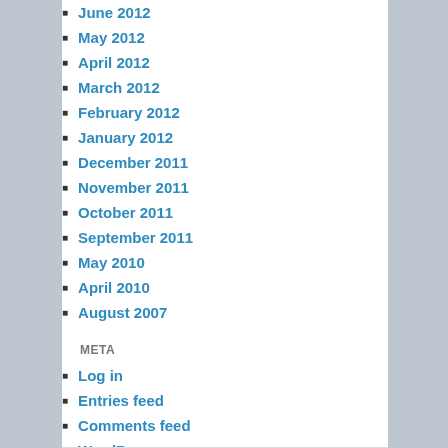June 2012
May 2012
April 2012
March 2012
February 2012
January 2012
December 2011
November 2011
October 2011
September 2011
May 2010
April 2010
August 2007
META
Log in
Entries feed
Comments feed
WordPress.org